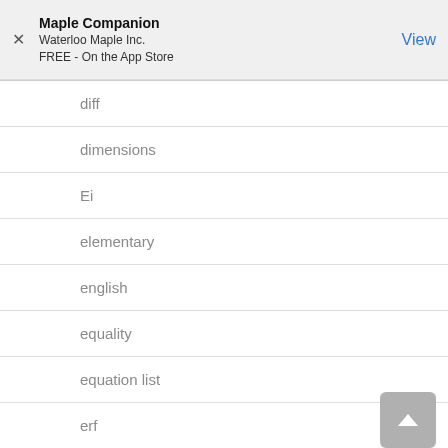Maple Companion
Waterloo Maple Inc.
FREE - On the App Store
View
diff
dimensions
Ei
elementary
english
equality
equation list
erf
erfc